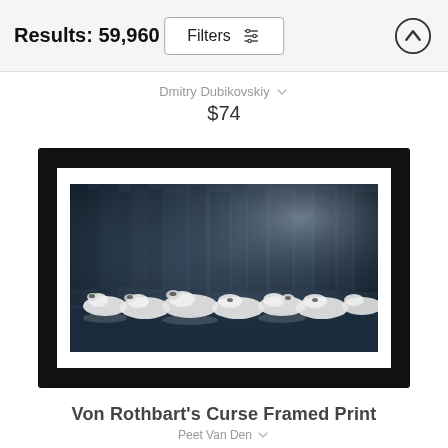Results: 59,960
Filters
Dmitry Dubikovskiy
$74
[Figure (photo): Framed print of swans on misty dark water with forest background - Von Rothbart's Curse]
Von Rothbart's Curse Framed Print
Peet Van Den